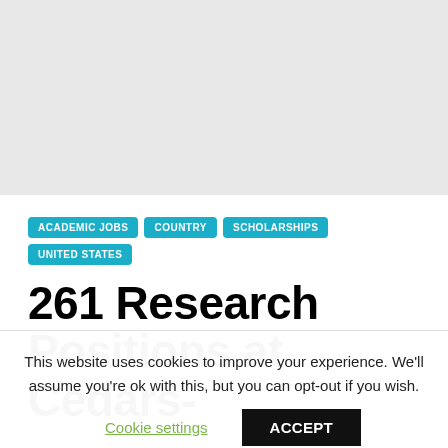ACADEMIC JOBS
COUNTRY
SCHOLARSHIPS
UNITED STATES
261 Research Positions at Cedars-
This website uses cookies to improve your experience. We'll assume you're ok with this, but you can opt-out if you wish.
Cookie settings   ACCEPT